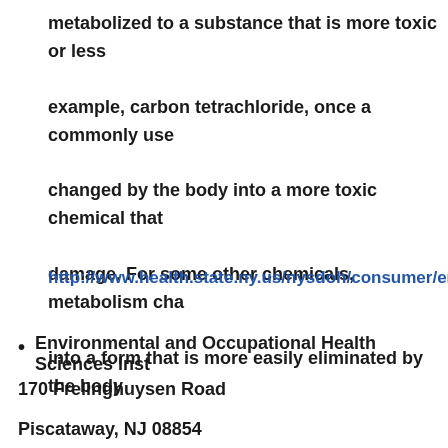metabolized to a substance that is more toxic or less example, carbon tetrachloride, once a commonly use changed by the body into a more toxic chemical that damage. For some other chemicals, metabolism cha into a form that is more easily eliminated by the body
http://www.health.state.ny.us/nysdoh/consumer/envi
Environmental and Occupational Health Sciences Inst
170 Frelinghuysen Road
Piscataway, NJ 08854